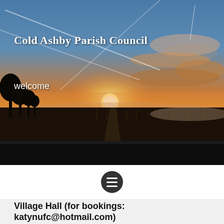[Figure (photo): Countryside sunrise photograph showing a misty rural landscape with fence posts along a track, bare trees silhouetted on the left, and a dramatic sky with contrails and clouds lit orange and gold by the rising sun.]
Cold Ashby Parish Council
welcome
Village Hall (for bookings: katynufc@hotmail.com)